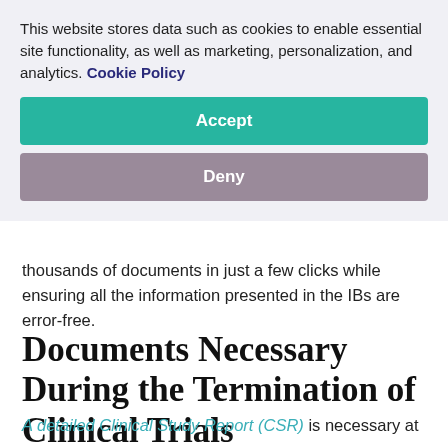This website stores data such as cookies to enable essential site functionality, as well as marketing, personalization, and analytics. Cookie Policy
Accept
Deny
thousands of documents in just a few clicks while ensuring all the information presented in the IBs are error-free.
Documents Necessary During the Termination of Clinical Trials
A detailed Clinical Study Report (CSR) is necessary at